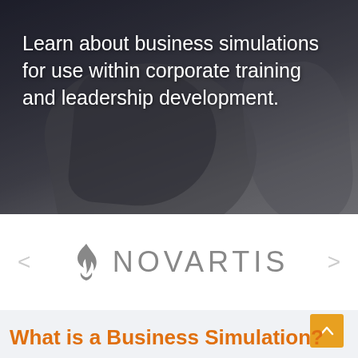[Figure (photo): Dark blurred background photo of hands/arms in business attire, with white text overlay reading 'Learn about business simulations for use within corporate training and leadership development.']
Learn about business simulations for use within corporate training and leadership development.
[Figure (logo): Novartis logo: grey flame/torch symbol followed by 'NOVARTIS' in grey capital letters with wide letter-spacing. Navigation arrows on left and right sides.]
What is a Business Simulation?